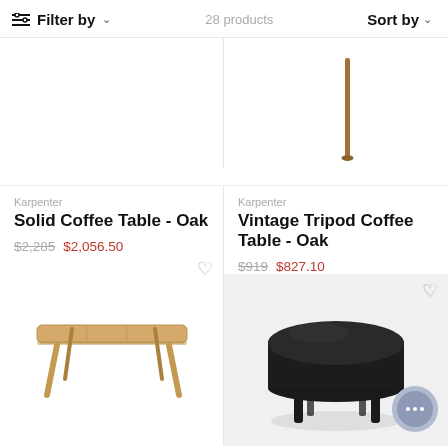Filter by | 28 products | Sort by
[Figure (photo): Partial view of Solid Coffee Table - Oak (top cropped)]
[Figure (photo): Partial view of tripod table leg - Vintage Tripod Coffee Table Oak (top cropped)]
Karpenter
Solid Coffee Table - Oak
$2,285  $2,056.50
Karpenter
Vintage Tripod Coffee Table - Oak
$919  $827.10
[Figure (photo): Oak rectangular coffee table with tapered legs, viewed from slight angle]
[Figure (photo): Round black upholstered ottoman with four black legs on light grey background]